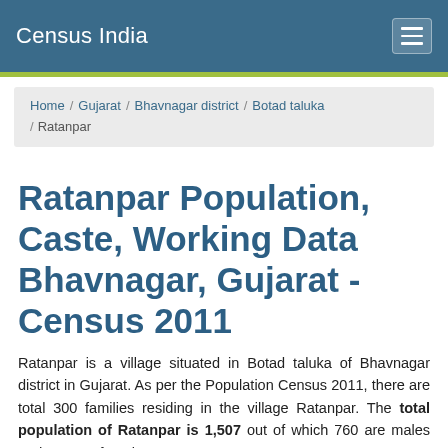Census India
Home / Gujarat / Bhavnagar district / Botad taluka / Ratanpar
Ratanpar Population, Caste, Working Data Bhavnagar, Gujarat - Census 2011
Ratanpar is a village situated in Botad taluka of Bhavnagar district in Gujarat. As per the Population Census 2011, there are total 300 families residing in the village Ratanpar. The total population of Ratanpar is 1,507 out of which 760 are males and 750 are females.